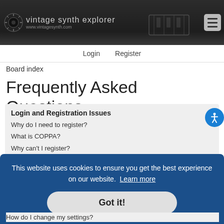[Figure (logo): Vintage Synth Explorer logo with sun/vinyl icon and site name, plus decorative synthesizer image on header right, and hamburger menu button]
Login   Register
Board index
Frequently Asked Questions
Login and Registration Issues
Why do I need to register?
What is COPPA?
Why can't I register?
This website uses cookies to ensure you get the best experience on our website. Learn more
Got it!
How do I change my settings?